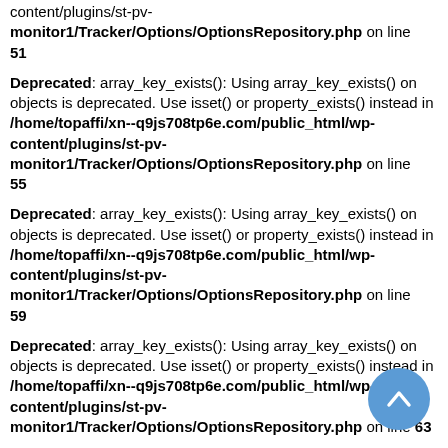content/plugins/st-pv-monitor1/Tracker/Options/OptionsRepository.php on line 51
Deprecated: array_key_exists(): Using array_key_exists() on objects is deprecated. Use isset() or property_exists() instead in /home/topaffi/xn--q9js708tp6e.com/public_html/wp-content/plugins/st-pv-monitor1/Tracker/Options/OptionsRepository.php on line 55
Deprecated: array_key_exists(): Using array_key_exists() on objects is deprecated. Use isset() or property_exists() instead in /home/topaffi/xn--q9js708tp6e.com/public_html/wp-content/plugins/st-pv-monitor1/Tracker/Options/OptionsRepository.php on line 59
Deprecated: array_key_exists(): Using array_key_exists() on objects is deprecated. Use isset() or property_exists() instead in /home/topaffi/xn--q9js708tp6e.com/public_html/wp-content/plugins/st-pv-monitor1/Tracker/Options/OptionsRepository.php on line 63